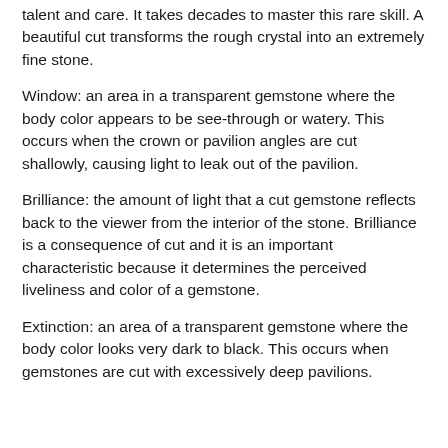talent and care. It takes decades to master this rare skill. A beautiful cut transforms the rough crystal into an extremely fine stone.
Window: an area in a transparent gemstone where the body color appears to be see-through or watery. This occurs when the crown or pavilion angles are cut shallowly, causing light to leak out of the pavilion.
Brilliance: the amount of light that a cut gemstone reflects back to the viewer from the interior of the stone. Brilliance is a consequence of cut and it is an important characteristic because it determines the perceived liveliness and color of a gemstone.
Extinction: an area of a transparent gemstone where the body color looks very dark to black. This occurs when gemstones are cut with excessively deep pavilions.